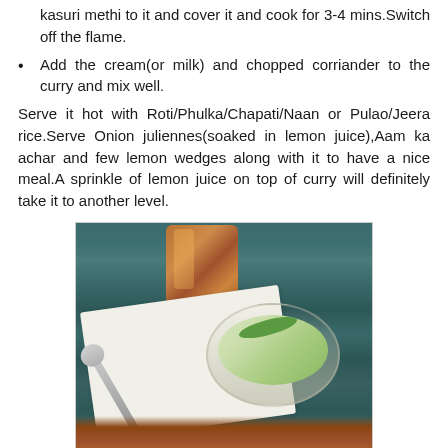kasuri methi to it and cover it and cook for 3-4 mins.Switch off the flame.
Add the cream(or milk) and chopped corriander to the curry and mix well.
Serve it hot with Roti/Phulka/Chapati/Naan or Pulao/Jeera rice.Serve Onion juliennes(soaked in lemon juice),Aam ka achar and few lemon wedges along with it to have a nice meal.A sprinkle of lemon juice on top of curry will definitely take it to another level.
[Figure (photo): Food styling photo showing a copper/metal drinking glass, a white napkin, a spoon, a glass bowl with onion juliennes and green chilies, and a curry dish at the bottom, all on a dark teal/green textured surface.]